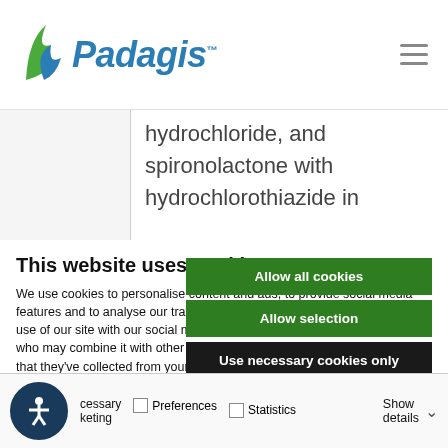Padagis
hydrochloride, and spironolactone with hydrochlorothiazide in
This website uses cookies
We use cookies to personalise content and ads, to provide social media features and to analyse our traffic. We also share information about your use of our site with our social media, advertising and analytics partners who may combine it with other information that you've provided to them or that they've collected from your use of their services.
Allow all cookies
Allow selection
Use necessary cookies only
Necessary   Preferences   Statistics   Show details